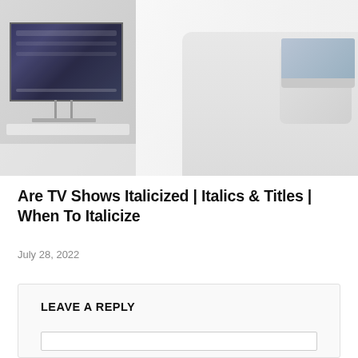[Figure (photo): Photo of a smart TV on a stand in a living room on the left, and a person on a couch with a laptop on the right, faded/light background]
Are TV Shows Italicized | Italics & Titles | When To Italicize
July 28, 2022
LEAVE A REPLY